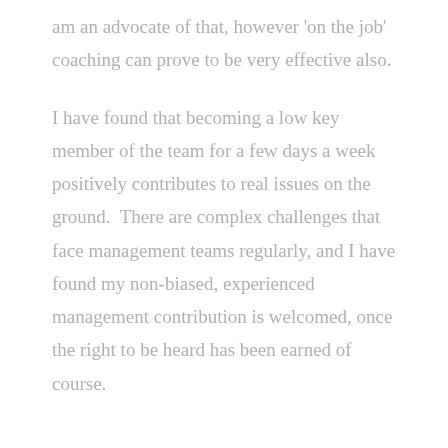am an advocate of that, however 'on the job' coaching can prove to be very effective also.

I have found that becoming a low key member of the team for a few days a week positively contributes to real issues on the ground.  There are complex challenges that face management teams regularly, and I have found my non-biased, experienced management contribution is welcomed, once the right to be heard has been earned of course.